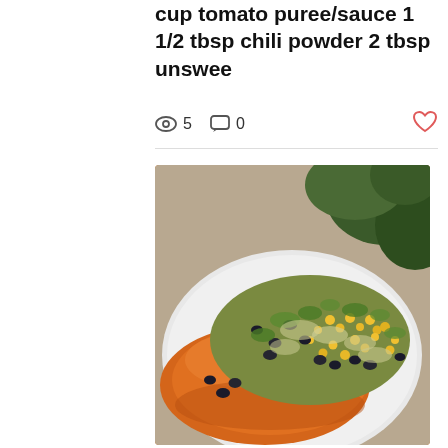cup tomato puree/sauce 1 1/2 tbsp chili powder 2 tbsp unswee
5  0
[Figure (photo): A plate with a baked sweet potato topped with a colorful salad of black beans, corn, shredded cabbage, and herbs on a white plate, with green foliage in the background.]